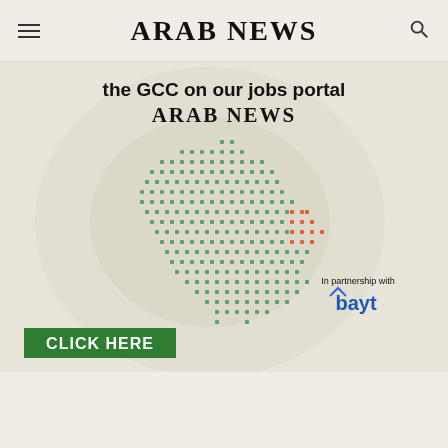ARAB NEWS
[Figure (infographic): Arab News jobs portal advertisement banner featuring a map of Saudi Arabia/GCC region made up of small job-related icons in green and orange/red colors, with text 'the GCC on our jobs portal ARAB NEWS', a green CLICK HERE button, and 'In partnership with bayt' logo]
the GCC on our jobs portal
ARAB NEWS
CLICK HERE
In partnership with
bayt